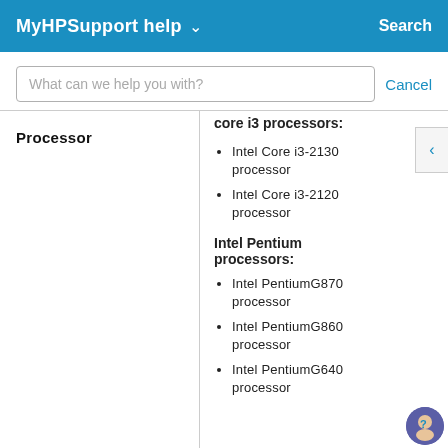MyHPSupport help  Search
What can we help you with?  Cancel
core i3 processors:
Intel Core i3-2130 processor
Intel Core i3-2120 processor
Processor
Intel Pentium processors:
Intel PentiumG870 processor
Intel PentiumG860 processor
Intel PentiumG640 processor